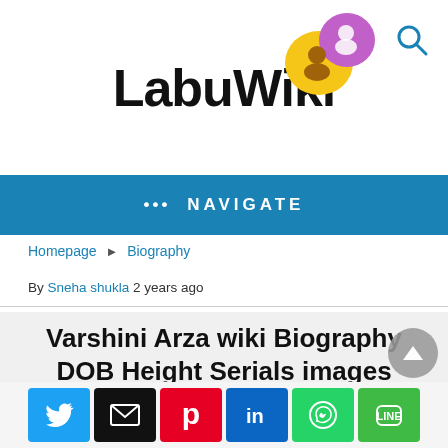LabuWiki
[Figure (logo): LabuWiki logo with two cartoon avatar speech bubbles - one gold/yellow and one purple, with person icons]
[Figure (illustration): Search magnifying glass icon, top right]
••• NAVIGATE
Homepage ▸ Biography
By Sneha shukla 2 years ago
Varshini Arza wiki Biography DOB Height Serials images
[Figure (photo): Partial photo at bottom of page, appears to show green plants/foliage]
Social share buttons: Twitter, Email, Pinterest, LinkedIn, WhatsApp, LINE